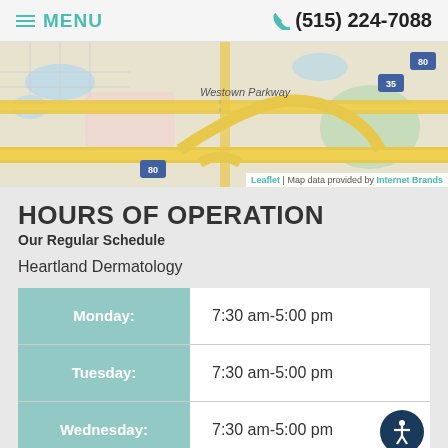MENU | (515) 224-7088
[Figure (map): Street map showing Westown Parkway area with Interstate 80 and 35 interchange, map attribution: Leaflet | Map data provided by Internet Brands]
HOURS OF OPERATION
Our Regular Schedule
Heartland Dermatology
| Day | Hours |
| --- | --- |
| Monday: | 7:30 am-5:00 pm |
| Tuesday: | 7:30 am-5:00 pm |
| Wednesday: | 7:30 am-5:00 pm |